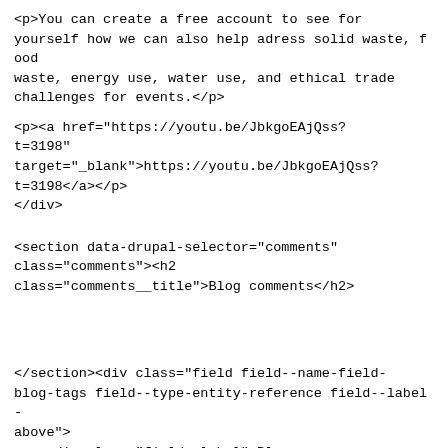&lt;p&gt;You can create a free account to see for yourself how we can also help adress solid waste, food waste, energy use, water use, and ethical trade challenges for events.&lt;/p&gt;
&lt;p&gt;&lt;a href="https://youtu.be/JbkgoEAjQss?t=3198" target="_blank"&gt;https://youtu.be/JbkgoEAjQss?t=3198&lt;/a&gt;&lt;/p&gt;
&lt;/div&gt;
&lt;section data-drupal-selector="comments" class="comments"&gt;&lt;h2 class="comments__title"&gt;Blog comments&lt;/h2&gt;
&lt;/section&gt;&lt;div class="field field--name-field-blog-tags field--type-entity-reference field--label-above"&gt;
    &lt;div class="field__label"&gt;Blog tags&lt;/div&gt;
        &lt;div class="field__items"&gt;
            &lt;div class="field__item"&gt;&lt;a href="https://www.eventmapstudio.com/taxonomy/term/sustainability" hreflang="en"&gt;sustainability &lt;/a&gt;&lt;/div&gt;